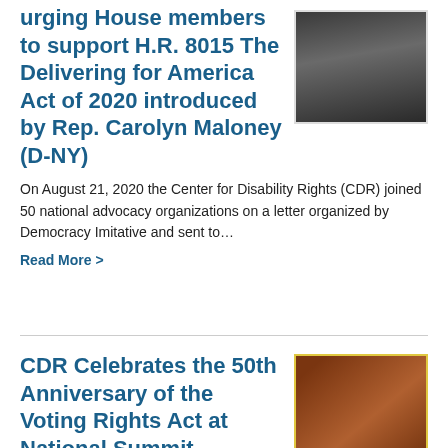urging House members to support H.R. 8015 The Delivering for America Act of 2020 introduced by Rep. Carolyn Maloney (D-NY)
[Figure (photo): Portrait photo of a person wearing a dark top, dark background with greenery]
On August 21, 2020 the Center for Disability Rights (CDR) joined 50 national advocacy organizations on a letter organized by Democracy Imitative and sent to…
Read More >
CDR Celebrates the 50th Anniversary of the Voting Rights Act at National Summit…
[Figure (photo): Portrait photo of a person smiling, brick wall background with red flowers]